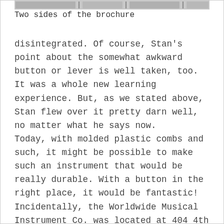[Figure (other): Cropped top portion of a brochure image strip, partially visible at the top of the page]
Two sides of the brochure
disintegrated. Of course, Stan's point about the somewhat awkward button or lever is well taken, too. It was a whole new learning experience. But, as we stated above, Stan flew over it pretty darn well, no matter what he says now. Today, with molded plastic combs and such, it might be possible to make such an instrument that would be really durable. With a button in the right place, it would be fantastic! Incidentally, the Worldwide Musical Instrument Co. was located at 404 4th Ave., New York 16, New York, across the street from Hohner's old location at 351 4th Ave.